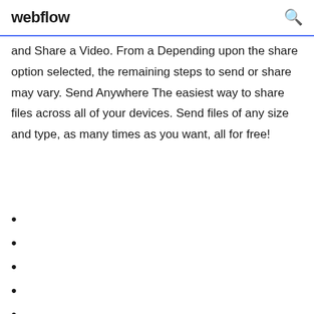webflow
and Share a Video. From a Depending upon the share option selected, the remaining steps to send or share may vary. Send Anywhere The easiest way to share files across all of your devices. Send files of any size and type, as many times as you want, all for free!